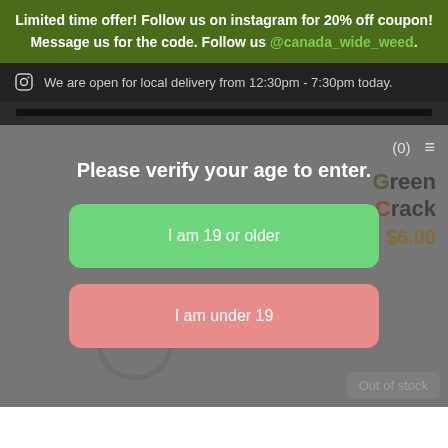Limited time offer! Follow us on instagram for 20% off coupon! Message us for the code. Follow us @canada_wide_weed.
We are open for local delivery from 12:30pm - 7:30pm today.
Please verify your age to enter.
I am 19 or older
I am under 19
Green Crack
$6.00
Out of stock